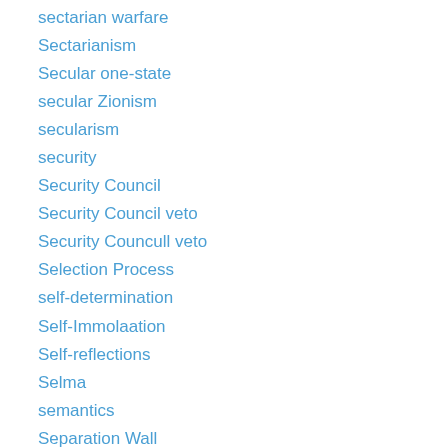sectarian warfare
Sectarianism
Secular one-state
secular Zionism
secularism
security
Security Council
Security Council veto
Security Councull veto
Selection Process
self-determination
Self-Immolaation
Self-reflections
Selma
semantics
Separation Wall
Sepp Blatter
Serena Williams
Settlement Outposts
Settlements